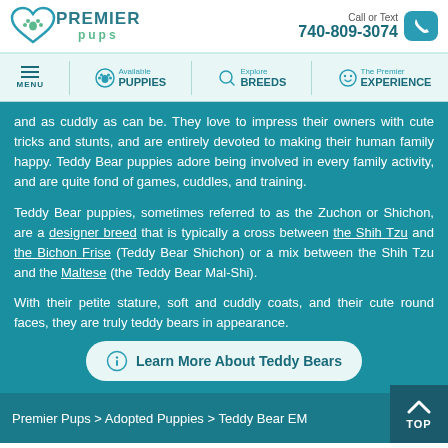Premier Pups | Call or Text 740-809-3074
[Figure (screenshot): Navigation bar with menu, Available Puppies, Explore Breeds, The Premier Experience]
and as cuddly as can be. They love to impress their owners with cute tricks and stunts, and are entirely devoted to making their human family happy. Teddy Bear puppies adore being involved in every family activity, and are quite fond of games, cuddles, and training.
Teddy Bear puppies, sometimes referred to as the Zuchon or Shichon, are a designer breed that is typically a cross between the Shih Tzu and the Bichon Frise (Teddy Bear Shichon) or a mix between the Shih Tzu and the Maltese (the Teddy Bear Mal-Shi).
With their petite stature, soft and cuddly coats, and their cute round faces, they are truly teddy bears in appearance.
Learn More About Teddy Bears
Premier Pups > Adopted Puppies > Teddy Bear EM